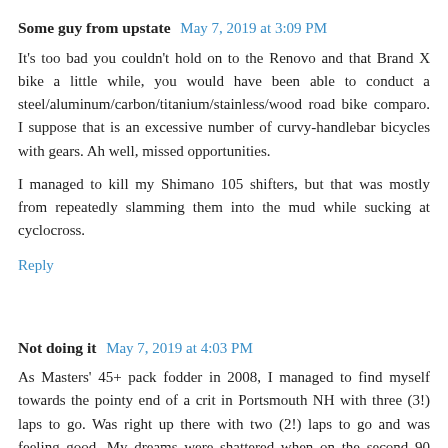Some guy from upstate  May 7, 2019 at 3:09 PM
It's too bad you couldn't hold on to the Renovo and that Brand X bike a little while, you would have been able to conduct a steel/aluminum/carbon/titanium/stainless/wood road bike comparo. I suppose that is an excessive number of curvy-handlebar bicycles with gears. Ah well, missed opportunities.

I managed to kill my Shimano 105 shifters, but that was mostly from repeatedly slamming them into the mud while sucking at cyclocross.
Reply
Not doing it  May 7, 2019 at 4:03 PM
As Masters' 45+ pack fodder in 2008, I managed to find myself towards the pointy end of a crit in Portsmouth NH with three (3!) laps to go. Was right up there with two (2!) laps to go and was feeling good. My dreams were shattered when on the second 90 degree right turn I heard